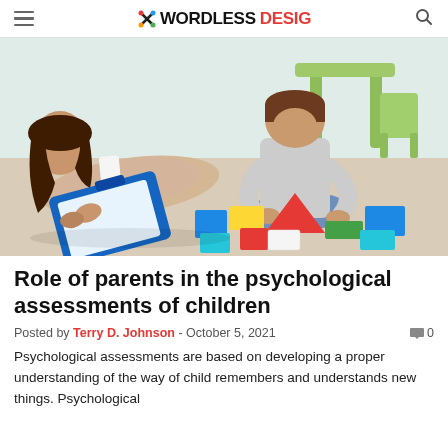WORDLESS DESIG
[Figure (photo): A woman lying on the floor holding a blue clipboard, observing a young boy playing with colorful building blocks on the floor in a bright room with green child-sized furniture in the background.]
Role of parents in the psychological assessments of children
Posted by Terry D. Johnson - October 5, 2021   0
Psychological assessments are based on developing a proper understanding of the way of child remembers and understands new things. Psychological